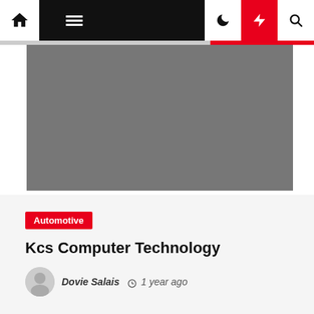Navigation bar with home, menu, dark mode, lightning, and search icons
[Figure (photo): Large gray placeholder hero image]
Automotive
Kcs Computer Technology
Dovie Salais  1 year ago